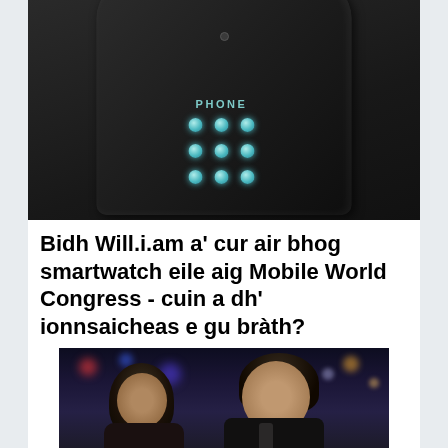[Figure (photo): A black smartwatch/wristband with cyan/teal LED dots arranged in a 3x3 grid and the word PHONE above them, shown from an angle against a dark background]
Bidh Will.i.am a' cur air bhog smartwatch eile aig Mobile World Congress - cuin a dh' ionnsaicheas e gu bràth?
[Figure (photo): Two people smiling in front of a bokeh light background, a woman with dark hair and a man in a suit]